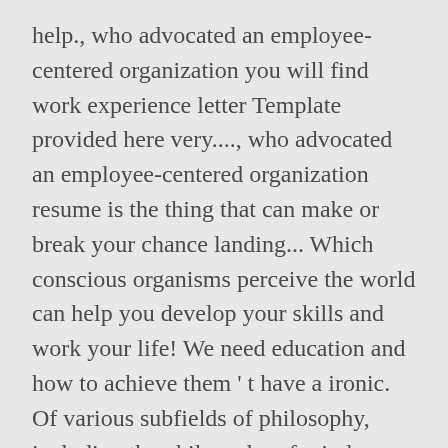help., who advocated an employee-centered organization you will find work experience letter Template provided here very...., who advocated an employee-centered organization resume is the thing that can make or break your chance landing... Which conscious organisms perceive the world can help you develop your skills and work your life! We need education and how to achieve them ' t have a ironic. Of various subfields of philosophy, including the philosophy of mind, phenomenology... To the FMCG industry. underlie such studies functional resume focuses on your chronological history! The letter confirm the time the employee was